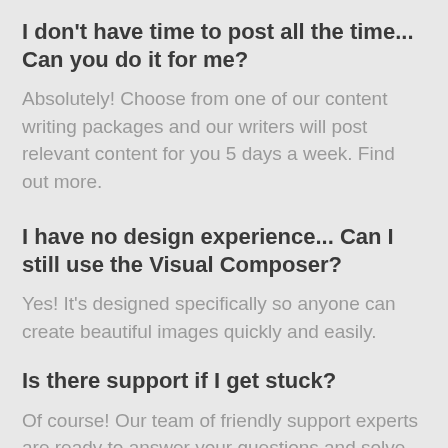I don't have time to post all the time... Can you do it for me?
Absolutely! Choose from one of our content writing packages and our writers will post relevant content for you 5 days a week. Find out more.
I have no design experience... Can I still use the Visual Composer?
Yes! It's designed specifically so anyone can create beautiful images quickly and easily.
Is there support if I get stuck?
Of course! Our team of friendly support experts are ready to answer your questions and solve any problems that